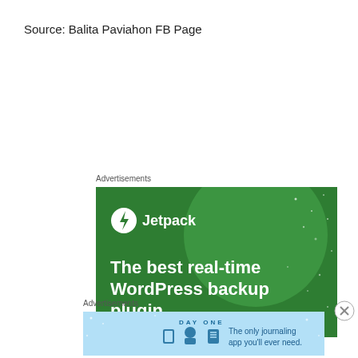Source: Balita Paviahon FB Page
Advertisements
[Figure (screenshot): Jetpack advertisement banner: green background with large circle, Jetpack logo and text 'The best real-time WordPress backup plugin']
Advertisements
[Figure (screenshot): Day One journaling app advertisement: light blue background with DAY ONE logo, icons, and text 'The only journaling app you'll ever need.']